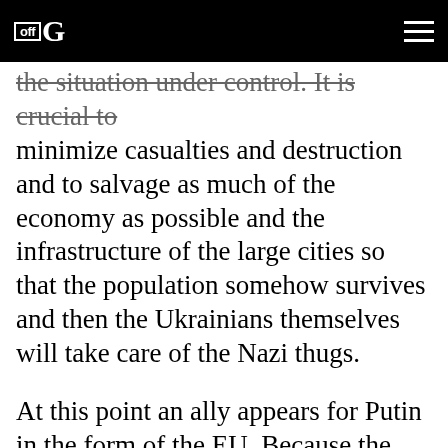off|G [logo] [hamburger menu]
the situation under control. It is crucial to minimize casualties and destruction and to salvage as much of the economy as possible and the infrastructure of the large cities so that the population somehow survives and then the Ukrainians themselves will take care of the Nazi thugs.
At this point an ally appears for Putin in the form of the EU. Because the United States always tried to use European resources in its struggle with Russia, the EU, which was already weakened, reaches the point of exhaustion and